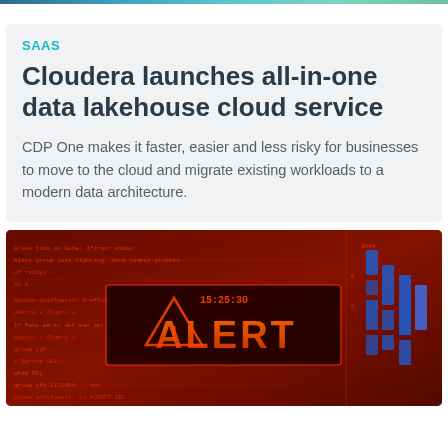SAAS
Cloudera launches all-in-one data lakehouse cloud service
CDP One makes it faster, easier and less risky for businesses to move to the cloud and migrate existing workloads to a modern data architecture.
[Figure (photo): A dark red digital display screen showing 'ALERT' in large orange text, with a warning triangle symbol and code/data streams in the background, and blue LED-like bars on the right side.]